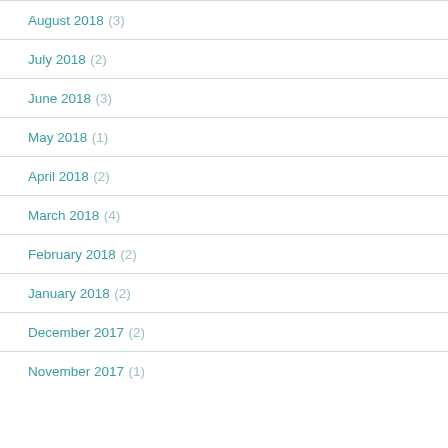August 2018 (3)
July 2018 (2)
June 2018 (3)
May 2018 (1)
April 2018 (2)
March 2018 (4)
February 2018 (2)
January 2018 (2)
December 2017 (2)
November 2017 (1)